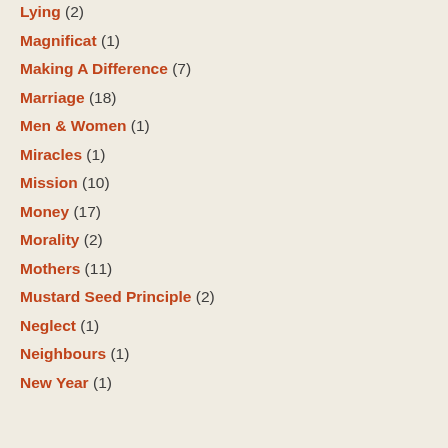Lying (2)
Magnificat (1)
Making A Difference (7)
Marriage (18)
Men & Women (1)
Miracles (1)
Mission (10)
Money (17)
Morality (2)
Mothers (11)
Mustard Seed Principle (2)
Neglect (1)
Neighbours (1)
New Year (1)